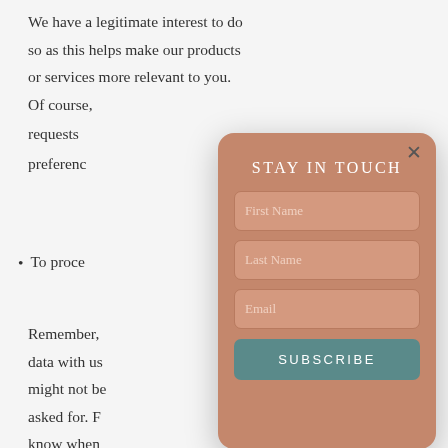We have a legitimate interest to do so as this helps make our products or services more relevant to you. Of course, requests preference
To proce…
Remember, data with us might not be asked for. F know when that if you've from us.
[Figure (screenshot): A modal popup overlay with a terracotta/salmon background color, rounded corners, and a close (×) button. Contains a title 'STAY IN TOUCH' in white serif letters, three form fields labeled 'First Name', 'Last Name', and 'Email', and a teal 'SUBSCRIBE' button.]